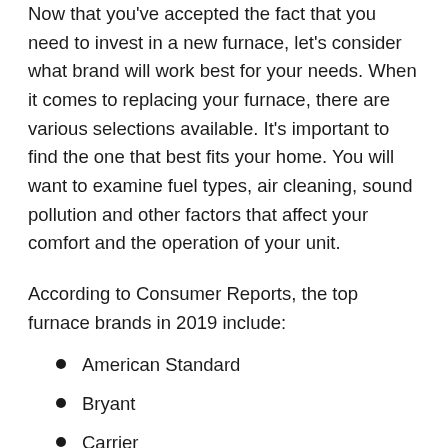Now that you've accepted the fact that you need to invest in a new furnace, let's consider what brand will work best for your needs. When it comes to replacing your furnace, there are various selections available. It's important to find the one that best fits your home. You will want to examine fuel types, air cleaning, sound pollution and other factors that affect your comfort and the operation of your unit.
According to Consumer Reports, the top furnace brands in 2019 include:
American Standard
Bryant
Carrier
Lennox